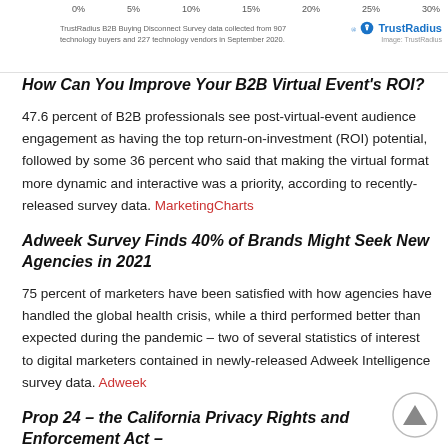TrustRadius B2B Buying Disconnect Survey data collected from 907 technology buyers and 227 technology vendors in September 2020.
[Figure (logo): TrustRadius logo with registered trademark symbol and bird icon]
How Can You Improve Your B2B Virtual Event's ROI?
47.6 percent of B2B professionals see post-virtual-event audience engagement as having the top return-on-investment (ROI) potential, followed by some 36 percent who said that making the virtual format more dynamic and interactive was a priority, according to recently-released survey data. MarketingCharts
Adweek Survey Finds 40% of Brands Might Seek New Agencies in 2021
75 percent of marketers have been satisfied with how agencies have handled the global health crisis, while a third performed better than expected during the pandemic – two of several statistics of interest to digital marketers contained in newly-released Adweek Intelligence survey data. Adweek
Prop 24 – the California Privacy Rights and Enforcement Act –